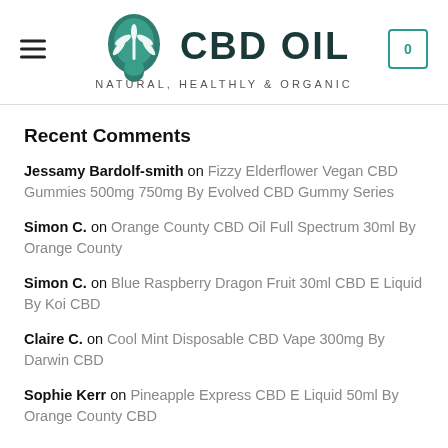CBD OIL — NATURAL, HEALTHLY & ORGANIC
Recent Comments
Jessamy Bardolf-smith on Fizzy Elderflower Vegan CBD Gummies 500mg 750mg By Evolved CBD Gummy Series
Simon C. on Orange County CBD Oil Full Spectrum 30ml By Orange County
Simon C. on Blue Raspberry Dragon Fruit 30ml CBD E Liquid By Koi CBD
Claire C. on Cool Mint Disposable CBD Vape 300mg By Darwin CBD
Sophie Kerr on Pineapple Express CBD E Liquid 50ml By Orange County CBD